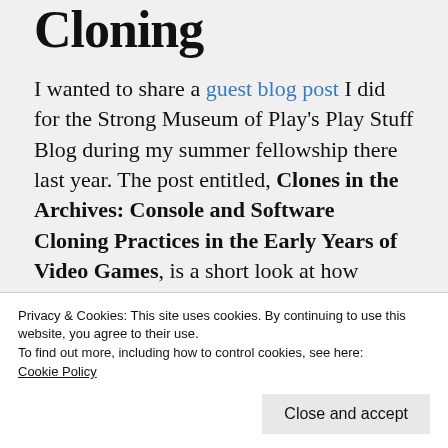Cloning
I wanted to share a guest blog post I did for the Strong Museum of Play's Play Stuff Blog during my summer fellowship there last year. The post entitled, Clones in the Archives: Console and Software Cloning Practices in the Early Years of Video Games, is a short look at how console cloning contributed to the global proliferation of video games in the 1970s and 1980s. It narrows in on cloning narratives around Pong
Privacy & Cookies: This site uses cookies. By continuing to use this website, you agree to their use.
To find out more, including how to control cookies, see here:
Cookie Policy
Close and accept